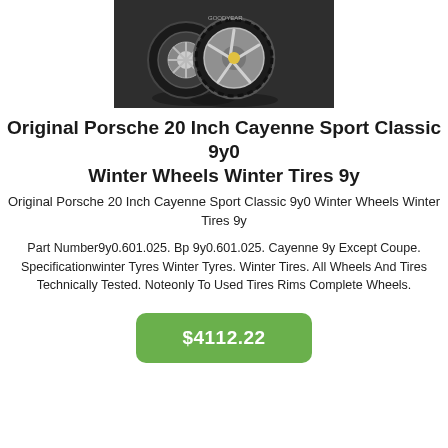[Figure (photo): Three Porsche Cayenne 20 inch winter wheels/tires on dark background, silver alloy rims with black tires stacked behind each other]
Original Porsche 20 Inch Cayenne Sport Classic 9y0 Winter Wheels Winter Tires 9y
Original Porsche 20 Inch Cayenne Sport Classic 9y0 Winter Wheels Winter Tires 9y
Part Number9y0.601.025. Bp 9y0.601.025. Cayenne 9y Except Coupe. Specificationwinter Tyres Winter Tyres. Winter Tires. All Wheels And Tires Technically Tested. Noteonly To Used Tires Rims Complete Wheels.
$4112.22